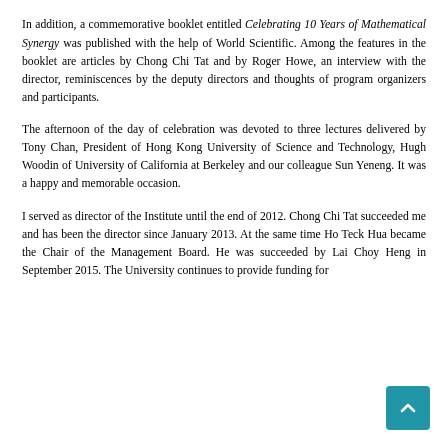during the celebration. A video highlighting the achievements of the Institute was made with the help of the NUS Centre for Instructional Technology and was also shown during the celebration.
In addition, a commemorative booklet entitled Celebrating 10 Years of Mathematical Synergy was published with the help of World Scientific. Among the features in the booklet are articles by Chong Chi Tat and by Roger Howe, an interview with the director, reminiscences by the deputy directors and thoughts of program organizers and participants.
The afternoon of the day of celebration was devoted to three lectures delivered by Tony Chan, President of Hong Kong University of Science and Technology, Hugh Woodin of University of California at Berkeley and our colleague Sun Yeneng. It was a happy and memorable occasion.
I served as director of the Institute until the end of 2012. Chong Chi Tat succeeded me and has been the director since January 2013. At the same time Ho Teck Hua became the Chair of the Management Board. He was succeeded by Lai Choy Heng in September 2015. The University continues to provide funding for